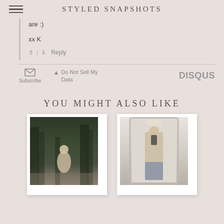STYLED SNAPSHOTS
are :)
xx K
↑ | ↓   Reply
✉ Subscribe   ▲ Do Not Sell My Data   DISQUS
YOU MIGHT ALSO LIKE
[Figure (photo): Blonde woman sitting outdoors in front of dark forest trees, wearing light colored outfit]
[Figure (photo): Blonde woman taking mirror selfie indoors, wearing long tan cardigan and jeans]